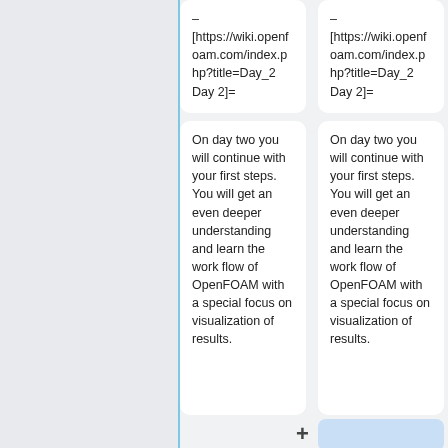– [https://wiki.openfoam.com/index.php?title=Day_2 Day 2]=
– [https://wiki.openfoam.com/index.php?title=Day_2 Day 2]=
On day two you will continue with your first steps. You will get an even deeper understanding and learn the work flow of OpenFOAM with a special focus on visualization of results.
On day two you will continue with your first steps. You will get an even deeper understanding and learn the work flow of OpenFOAM with a special focus on visualization of results.
* more detailed understanding of the work flow